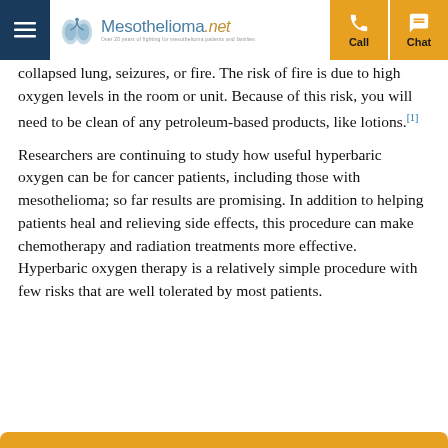Mesothelioma.net — Call | Chat
collapsed lung, seizures, or fire. The risk of fire is due to high oxygen levels in the room or unit. Because of this risk, you will need to be clean of any petroleum-based products, like lotions.[1]
Researchers are continuing to study how useful hyperbaric oxygen can be for cancer patients, including those with mesothelioma; so far results are promising. In addition to helping patients heal and relieving side effects, this procedure can make chemotherapy and radiation treatments more effective. Hyperbaric oxygen therapy is a relatively simple procedure with few risks that are well tolerated by most patients.